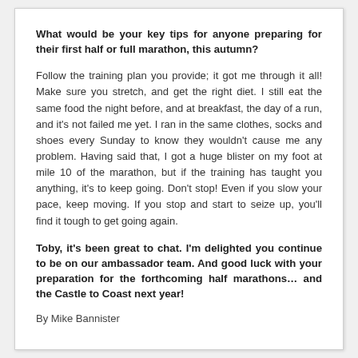What would be your key tips for anyone preparing for their first half or full marathon, this autumn?
Follow the training plan you provide; it got me through it all! Make sure you stretch, and get the right diet. I still eat the same food the night before, and at breakfast, the day of a run, and it's not failed me yet. I ran in the same clothes, socks and shoes every Sunday to know they wouldn't cause me any problem. Having said that, I got a huge blister on my foot at mile 10 of the marathon, but if the training has taught you anything, it's to keep going. Don't stop! Even if you slow your pace, keep moving. If you stop and start to seize up, you'll find it tough to get going again.
Toby, it's been great to chat. I'm delighted you continue to be on our ambassador team. And good luck with your preparation for the forthcoming half marathons… and the Castle to Coast next year!
By Mike Bannister